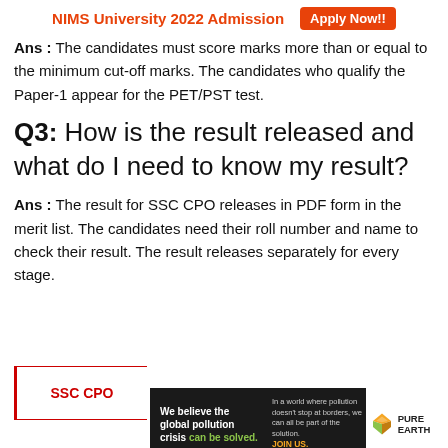NIMS University 2022 Admission  Apply Now!!
Ans : The candidates must score marks more than or equal to the minimum cut-off marks. The candidates who qualify the Paper-1 appear for the PET/PST test.
Q3: How is the result released and what do I need to know my result?
Ans : The result for SSC CPO releases in PDF form in the merit list. The candidates need their roll number and name to check their result. The result releases separately for every stage.
SSC CPO
[Figure (infographic): Pure Earth advertisement banner: dark background with text 'We believe the global pollution crisis can be solved.' and 'In a world where pollution doesn't stop at borders, we can all be part of the solution. JOIN US.' with Pure Earth logo on the right.]